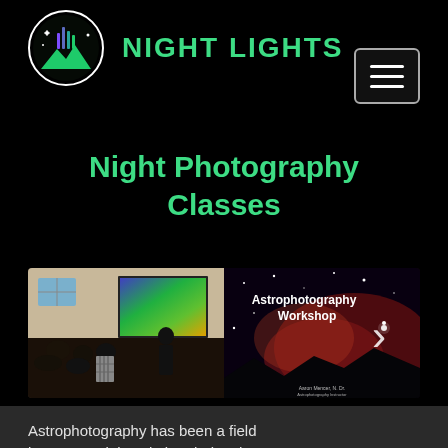[Figure (logo): Night Lights circular logo with mountain silhouette and colorful equalizer bars against dark background]
NIGHT LIGHTS
[Figure (other): Hamburger/navigation menu button with three horizontal white lines on dark background with rounded border]
Night Photography Classes
[Figure (photo): Left half: indoor astrophotography class with attendees seated watching a projection screen showing a colorful aurora/nebula image. Right half: Astrophotography Workshop slide with text and a starry night sky with red nebula and mountain silhouette, with a right-arrow chevron.]
Astrophotography has been a field in exponential evolution during the